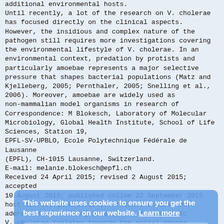additional environmental hosts.
Until recently, a lot of the research on V. cholerae has focused directly on the clinical aspects. However, the insidious and complex nature of the pathogen still requires more investigations covering the environmental lifestyle of V. cholerae. In an environmental context, predation by protists and particularly amoebae represents a major selective pressure that shapes bacterial populations (Matz and Kjelleberg, 2005; Pernthaler, 2005; Snelling et al., 2006). Moreover, amoebae are widely used as non-mammalian model organisms in research of
Correspondence: M Blokesch, Laboratory of Molecular Microbiology, Global Health Institute, School of Life Sciences, Station 19,
EPFL-SV-UPBLO, Ecole Polytechnique Fédérale de Lausanne
(EPFL), CH-1015 Lausanne, Switzerland.
E-mail: melanie.blokesch@epfl.ch
Received 24 April 2015; revised 2 August 2015; accepted
10 August 2015; published online 22 September 2015
host-microbe interactions. Previous studies have addressed the killing behavior of few specific V. cholerae isolates towards the social amoeba Dictyostelium discoideum (Pukatzki et al., 2006). However, as D. discoideum is primarily a soil-living amoeba, recurrent encounters with V. cholerae are unlikely. The free-living amoeba Acanthamoeba castellanii, however, is frequently found in aquatic environments (Martinez and Visvesvara, 1997; Khan, 2006, 2015). These amoebae prey on bacteria and have been described as a reservoir of pathogenic
This website uses cookies to ensure you get the best experience on our website. Learn more
Decline    Allow cookies